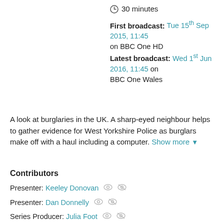30 minutes
First broadcast: Tue 15th Sep 2015, 11:45 on BBC One HD
Latest broadcast: Wed 1st Jun 2016, 11:45 on BBC One Wales
A look at burglaries in the UK. A sharp-eyed neighbour helps to gather evidence for West Yorkshire Police as burglars make off with a haul including a computer. Show more ▼
Contributors
Presenter: Keeley Donovan
Presenter: Dan Donnelly
Series Producer: Julia Foot
Executive Producer: Roger Farrant